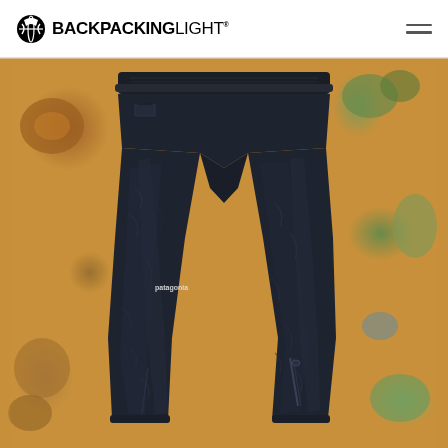BACKPACKINGLIGHT
[Figure (photo): Black lightweight rain/wind pants laid flat on an ornate floral carpet background. The pants have an elastic waistband, two leg zippers visible on the lower legs, and a small logo patch on the left thigh. The pants are dark navy/black in color and appear to be made of a thin, packable nylon material.]